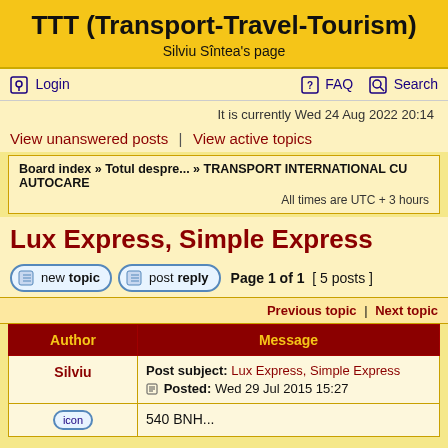TTT (Transport-Travel-Tourism)
Silviu Sîntea's page
Login | FAQ | Search
It is currently Wed 24 Aug 2022 20:14
View unanswered posts | View active topics
Board index » Totul despre... » TRANSPORT INTERNATIONAL CU AUTOCARE
All times are UTC + 3 hours
Lux Express, Simple Express
Page 1 of 1  [ 5 posts ]
Previous topic | Next topic
| Author | Message |
| --- | --- |
| Silviu | Post subject: Lux Express, Simple Express
Posted: Wed 29 Jul 2015 15:27 |
| [icon] | 540 BNH... |